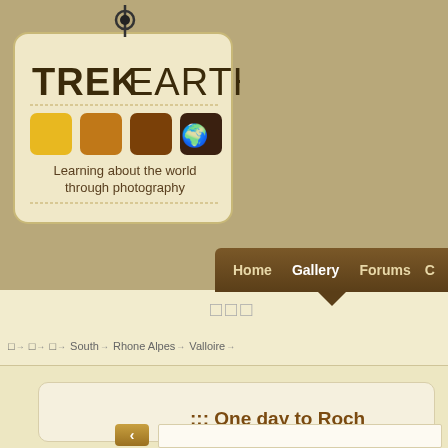[Figure (logo): TrekEarth logo tag with colored squares and world map icon, tagline: Learning about the world through photography]
Home  Gallery  Forums  C...
□□□
□ → □ → □ → South → Rhone Alpes → Valloire →
::: One day to Roch